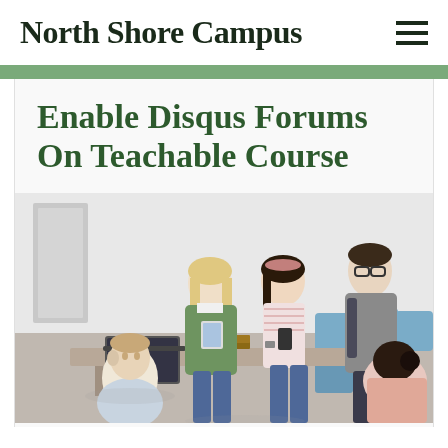North Shore Campus
Enable Disqus Forums On Teachable Course
[Figure (photo): Group of five university students in a classroom setting — two women standing and smiling while looking at a tablet, one woman sitting with her back to camera, one young man sitting at a desk with a laptop, and one tall young man with glasses standing with a backpack. Blue chairs visible in background.]